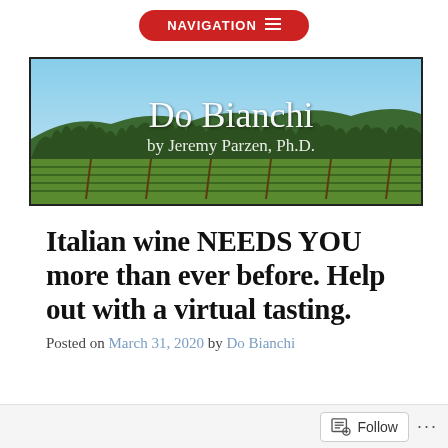NAVIGATION
[Figure (photo): Blog banner image showing vineyard rows with green vines and evergreen trees on hills in the background under a blue sky. Cursive text reads 'Do Bianchi by Jeremy Parzen, Ph.D.']
Italian wine NEEDS YOU more than ever before. Help out with a virtual tasting.
Posted on March 31, 2020 by Do Bianchi